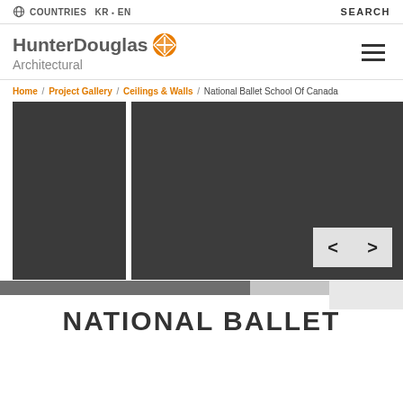COUNTRIES  KR · EN  SEARCH
[Figure (logo): HunterDouglas Architectural logo with orange compass/cross circle icon]
Home / Project Gallery / Ceilings & Walls / National Ballet School Of Canada
[Figure (photo): Two dark architectural interior photos side by side with left/right navigation arrows on bottom right]
NATIONAL BALLET